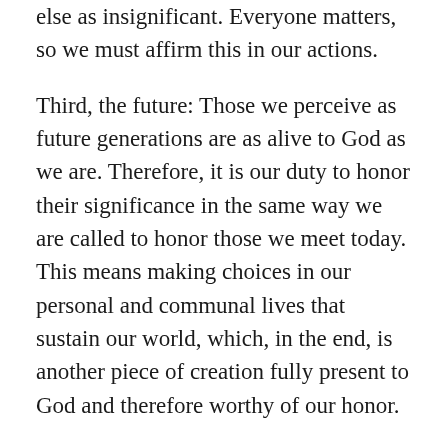else as insignificant. Everyone matters, so we must affirm this in our actions.
Third, the future: Those we perceive as future generations are as alive to God as we are. Therefore, it is our duty to honor their significance in the same way we are called to honor those we meet today. This means making choices in our personal and communal lives that sustain our world, which, in the end, is another piece of creation fully present to God and therefore worthy of our honor.
So there you have it. I have now talked for more than ten minutes on a topic I'm entirely unqualified to speak about. However, being unqualified does not mean that we shouldn't strive to see creation through the eyes of God. When we do this, we become better stewards, better parents, better followers. And...